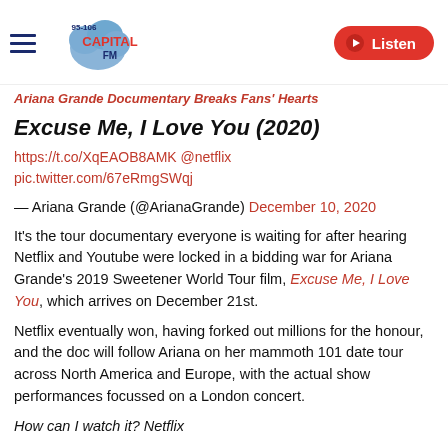Capital FM 95-106 | Listen
Ariana Grande Documentary Breaks Fans' Hearts
Excuse Me, I Love You (2020)
https://t.co/XqEAOB8AMK @netflix pic.twitter.com/67eRmgSWqj
— Ariana Grande (@ArianaGrande) December 10, 2020
It's the tour documentary everyone is waiting for after hearing Netflix and Youtube were locked in a bidding war for Ariana Grande's 2019 Sweetener World Tour film, Excuse Me, I Love You, which arrives on December 21st.
Netflix eventually won, having forked out millions for the honour, and the doc will follow Ariana on her mammoth 101 date tour across North America and Europe, with the actual show performances focussed on a London concert.
How can I watch it? Netflix